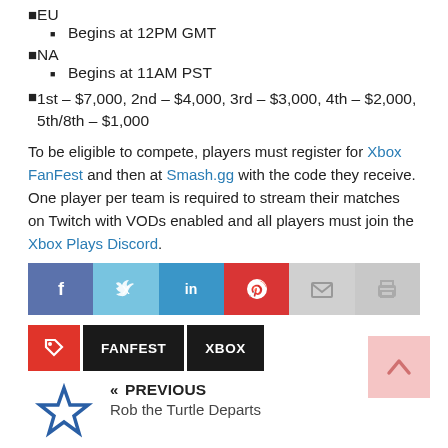EU
Begins at 12PM GMT
NA
Begins at 11AM PST
1st – $7,000, 2nd – $4,000, 3rd – $3,000, 4th – $2,000, 5th/8th – $1,000
To be eligible to compete, players must register for Xbox FanFest and then at Smash.gg with the code they receive. One player per team is required to stream their matches on Twitch with VODs enabled and all players must join the Xbox Plays Discord.
[Figure (infographic): Social sharing buttons row: Facebook (blue-purple), Twitter (light blue), LinkedIn (blue), Pinterest (red), Email (light gray), Print (gray)]
[Figure (infographic): Tag icon (red with tag symbol) followed by two black label buttons: FANFEST and XBOX]
[Figure (infographic): Star logo icon for previous article navigation]
« PREVIOUS
Rob the Turtle Departs
[Figure (other): Back to top button: pink/salmon square with upward arrow]